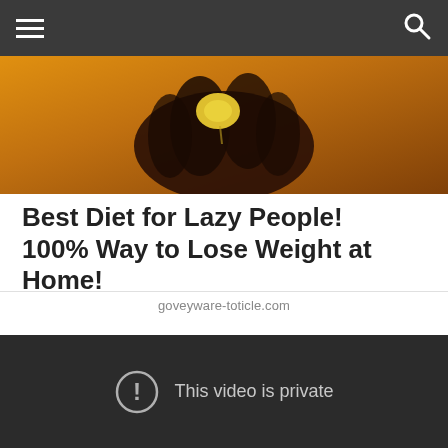[Figure (photo): Close-up photo of a dark hand squeezing a lemon or yellow citrus fruit against an orange/yellow background]
Best Diet for Lazy People! 100% Way to Lose Weight at Home!
goveyware-toticle.com
[Figure (screenshot): Embedded video player with dark background showing error message 'This video is private' with a circle-exclamation icon]